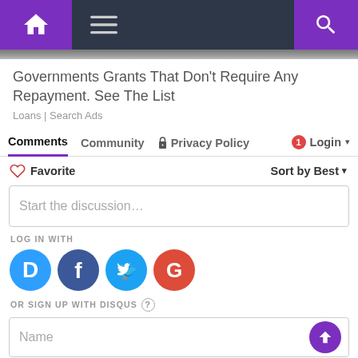Navigation bar with home, menu, and search icons
[Figure (screenshot): Partial top of an image strip visible at top of content area]
Governments Grants That Don't Require Any Repayment. See The List
Loans | Search Ads
Comments  Community  🔒 Privacy Policy  🔴1  Login ▾
♡ Favorite    Sort by Best ▾
Start the discussion…
LOG IN WITH
[Figure (logo): Social login icons: Disqus (blue D), Facebook (dark blue f), Twitter (light blue bird), Google (red G)]
OR SIGN UP WITH DISQUS ?
Name